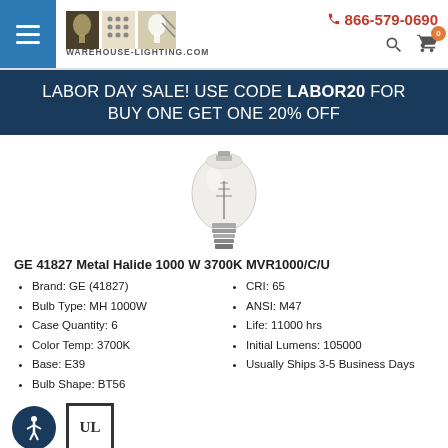WAREHOUSE-LIGHTING.COM | 866-579-0690
LABOR DAY SALE! USE CODE LABOR20 FOR BUY ONE GET ONE 20% OFF
[Figure (photo): Metal halide light bulb product photo, large teardrop-shaped bulb (BT56) with E39 base, clear glass, shown on white background]
GE 41827 Metal Halide 1000 W 3700K MVR1000/C/U
Brand: GE (41827)
Bulb Type: MH 1000W
Case Quantity: 6
Color Temp: 3700K
Base: E39
Bulb Shape: BT56
CRI: 65
ANSI: M47
Life: 11000 hrs
Initial Lumens: 105000
Usually Ships 3-5 Business Days